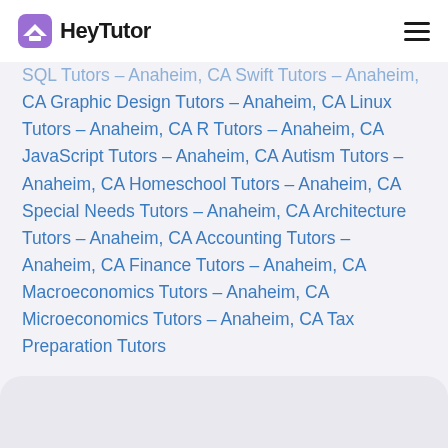HeyTutor
SQL Tutors – Anaheim, CA Swift Tutors – Anaheim, CA Graphic Design Tutors – Anaheim, CA Linux Tutors – Anaheim, CA R Tutors – Anaheim, CA JavaScript Tutors – Anaheim, CA Autism Tutors – Anaheim, CA Homeschool Tutors – Anaheim, CA Special Needs Tutors – Anaheim, CA Architecture Tutors – Anaheim, CA Accounting Tutors – Anaheim, CA Finance Tutors – Anaheim, CA Macroeconomics Tutors – Anaheim, CA Microeconomics Tutors – Anaheim, CA Tax Preparation Tutors